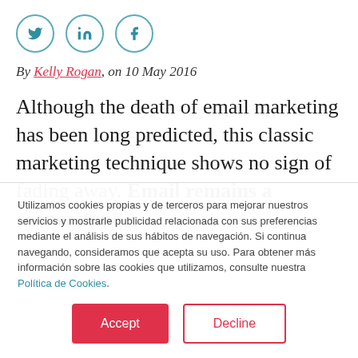[Figure (other): Social media share icons: Twitter, LinkedIn, Facebook in circular outlines]
By Kelly Rogan, on 10 May 2016
Although the death of email marketing has been long predicted, this classic marketing technique shows no sign of fading away. Email remains a cornerstone
Utilizamos cookies propias y de terceros para mejorar nuestros servicios y mostrarle publicidad relacionada con sus preferencias mediante el análisis de sus hábitos de navegación. Si continua navegando, consideramos que acepta su uso. Para obtener más información sobre las cookies que utilizamos, consulte nuestra Política de Cookies.
Accept | Decline